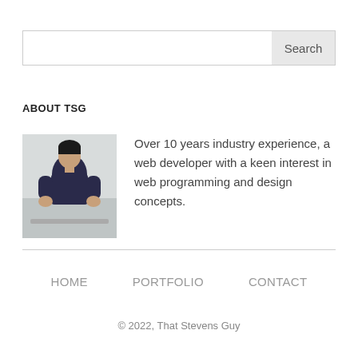Search
ABOUT TSG
[Figure (photo): Portrait photo of a man in a dark shirt seated in an indoor setting]
Over 10 years industry experience, a web developer with a keen interest in web programming and design concepts.
HOME   PORTFOLIO   CONTACT
© 2022, That Stevens Guy